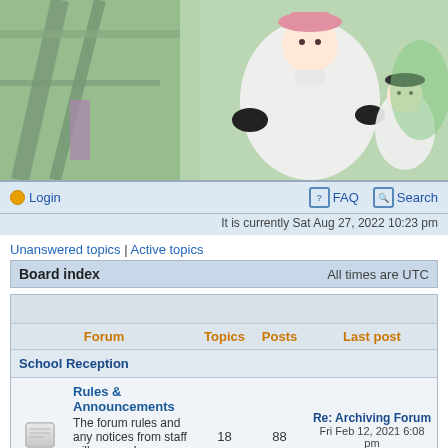[Figure (illustration): Anime-style forum banner showing characters in white uniforms with pink/green background, industrial setting]
Login
FAQ
Search
It is currently Sat Aug 27, 2022 10:23 pm
Unanswered topics | Active topics
| Forum | Topics | Posts | Last post |
| --- | --- | --- | --- |
| School Reception |  |  |  |
| Rules & Announcements
The forum rules and any notices from staff will appear here. Please read here first.
Moderators: | 18 | 88 | Re: Archiving Forum
Fri Feb 12, 2021 6:08 pm
Kamikaze |